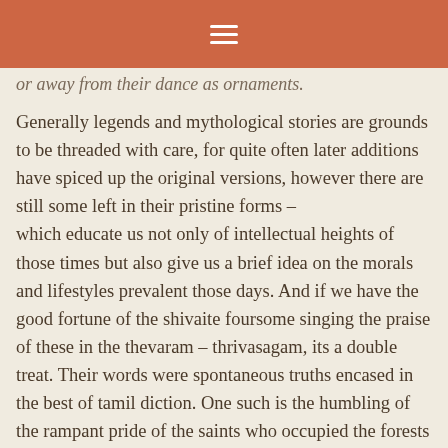or away from their dance as ornaments.
Generally legends and mythological stories are grounds to be threaded with care, for quite often later additions have spiced up the original versions, however there are still some left in their pristine forms – which educate us not only of intellectual heights of those times but also give us a brief idea on the morals and lifestyles prevalent those days. And if we have the good fortune of the shivaite foursome singing the praise of these in the thevaram – thrivasagam, its a double treat. Their words were spontaneous truths encased in the best of tamil diction. One such is the humbling of the rampant pride of the saints who occupied the forests of Tharukavanam. It was due to this that Shiva adorned himself with these amazing ornaments.